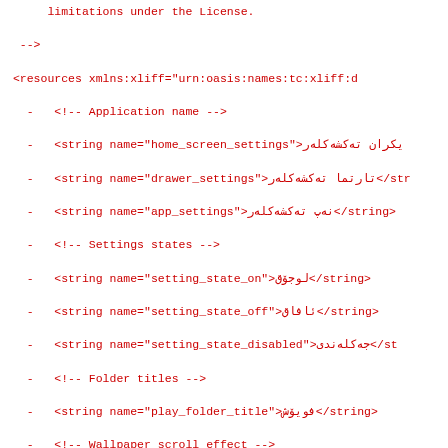XML/Android resource file snippet showing localized strings with Kurdish (Sorani) translations for settings including Application name, Settings states, Folder titles, Wallpaper scroll effect, Dynamic Grid, Dialog, Home screen search bar, Larger icons, and Icon labels.